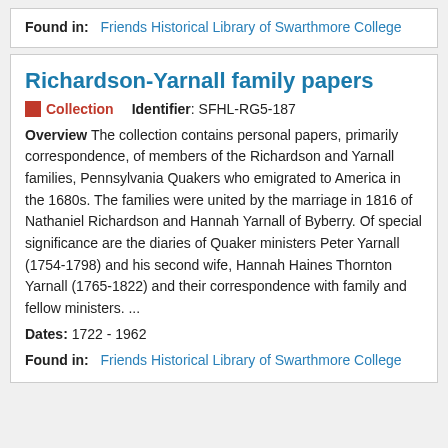Found in: Friends Historical Library of Swarthmore College
Richardson-Yarnall family papers
Collection   Identifier: SFHL-RG5-187
Overview The collection contains personal papers, primarily correspondence, of members of the Richardson and Yarnall families, Pennsylvania Quakers who emigrated to America in the 1680s. The families were united by the marriage in 1816 of Nathaniel Richardson and Hannah Yarnall of Byberry. Of special significance are the diaries of Quaker ministers Peter Yarnall (1754-1798) and his second wife, Hannah Haines Thornton Yarnall (1765-1822) and their correspondence with family and fellow ministers. ...
Dates: 1722 - 1962
Found in: Friends Historical Library of Swarthmore College